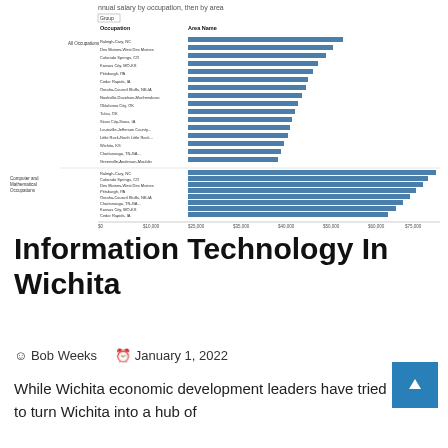[Figure (bar-chart): Horizontal bar chart showing annual salary by occupation then by area. Two occupation groups: All Occupations and Computer and Mathematical Occupations, each with multiple metro areas listed.]
Information Technology In Wichita
Bob Weeks   January 1, 2022
While Wichita economic development leaders have tried to turn Wichita into a hub of